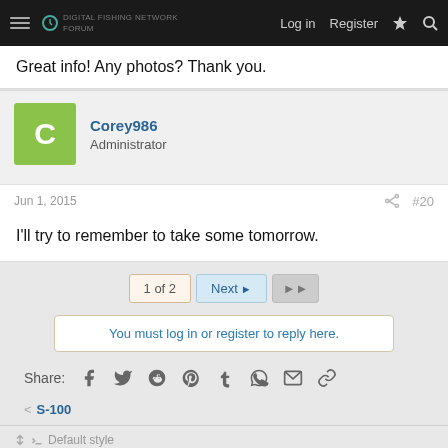Log in  Register
Great info! Any photos? Thank you.
Corey986
Administrator
Jun 1, 2015  #20
I'll try to remember to take some tomorrow.
1 of 2  Next  ▶▶
You must log in or register to reply here.
Share:
< S-100
Default style